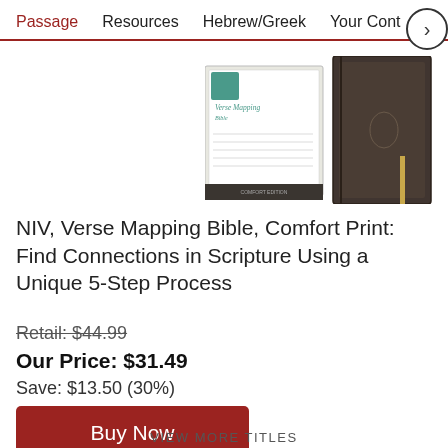Passage   Resources   Hebrew/Greek   Your Conte >
[Figure (photo): Two views of a Bible book: one showing the front cover with the title 'Verse Mapping Bible' in white lettering on a light background, and one showing the dark brown/charcoal leathersoft cover standing upright.]
NIV, Verse Mapping Bible, Comfort Print: Find Connections in Scripture Using a Unique 5-Step Process
Retail: $44.99
Our Price: $31.49
Save: $13.50 (30%)
Buy Now
VIEW MORE TITLES